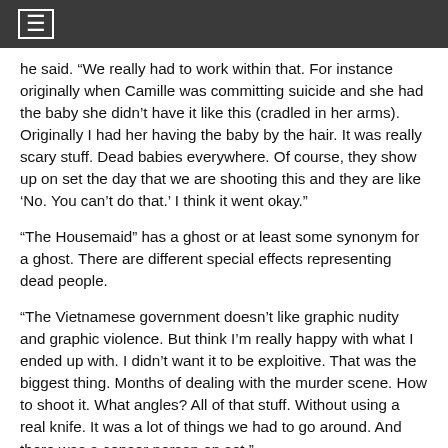☰
he said. “We really had to work within that. For instance originally when Camille was committing suicide and she had the baby she didn’t have it like this (cradled in her arms). Originally I had her having the baby by the hair. It was really scary stuff. Dead babies everywhere. Of course, they show up on set the day that we are shooting this and they are like ‘No. You can’t do that.’ I think it went okay.”
“The Housemaid” has a ghost or at least some synonym for a ghost. There are different special effects representing dead people.
“The Vietnamese government doesn’t like graphic nudity and graphic violence. But think I’m really happy with what I ended up with. I didn’t want it to be exploitive. That was the biggest thing. Months of dealing with the murder scene. How to shoot it. What angles? All of that stuff. Without using a real knife. It was a lot of things we had to go around. And there was a censor person on set.”